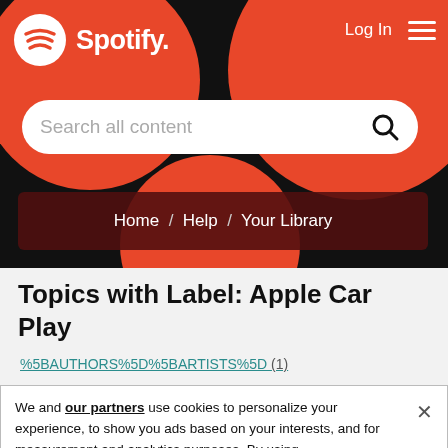[Figure (screenshot): Spotify website header with black background, red decorative circles, Spotify logo top-left, Log In and hamburger menu top-right, search bar for 'Search all content']
Home / Help / Your Library
Topics with Label: Apple Car Play
%5BAUTHORS%5D%5BARTISTS%5D (1)
We and our partners use cookies to personalize your experience, to show you ads based on your interests, and for measurement and analytics purposes. By using